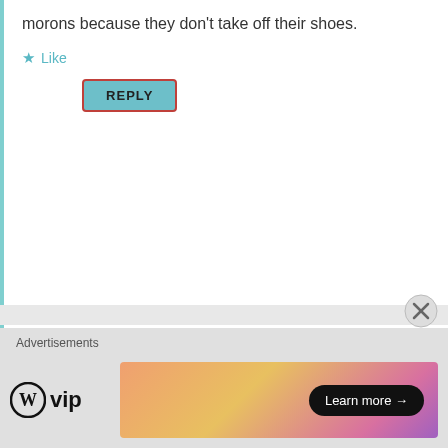morons because they don't take off their shoes.
Like
REPLY
expatsincebirth
December 28, 2016 at 11:26 am
Yes, Alex, I know. Thanks for specifying this. – And no, it's not your fault.
Like
REPLY
Advertisements
[Figure (logo): WordPress VIP logo with circle W icon and 'vip' text]
[Figure (other): Colorful advertisement banner with 'Learn more' button]